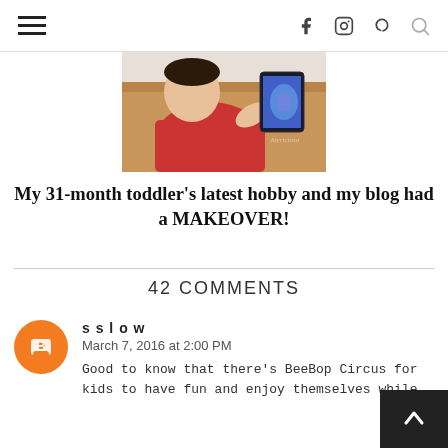Navigation menu, social icons (Facebook, Instagram, Pinterest), search
[Figure (photo): Young toddler in red shirt holding a tablet/phone, viewed from behind, seated at a wooden table with plastic containers in background]
My 31-month toddler's latest hobby and my blog had a MAKEOVER!
42 COMMENTS
sslow
March 7, 2016 at 2:00 PM
Good to know that there's BeeBop Circus for kids to have fun and enjoy themselves while